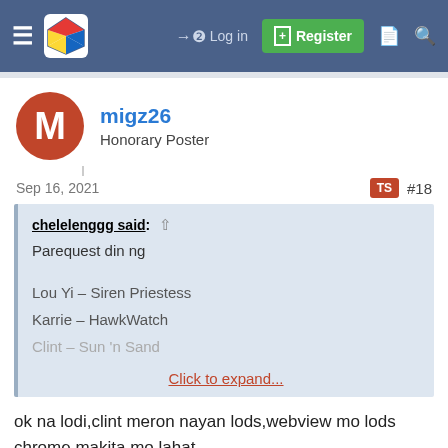migz26 forum post header with login and register navigation
migz26
Honorary Poster
Sep 16, 2021  TS  #18
chelelenggg said: ↑
Parequest din ng

Lou Yi - Siren Priestess
Karrie - HawkWatch
Clint - Sun 'n Sand
Click to expand...
ok na lodi,clint meron nayan lods,webview mo lods chrome makita mo lahat